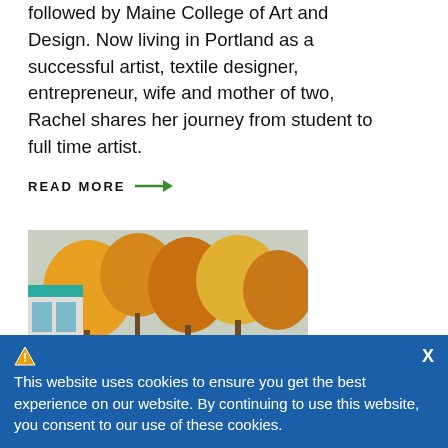followed by Maine College of Art and Design. Now living in Portland as a successful artist, textile designer, entrepreneur, wife and mother of two, Rachel shares her journey from student to full time artist.
READ MORE →
[Figure (photo): Outdoor photo of a group of students and an instructor sitting in a circular seating area surrounded by autumn foliage trees, next to a modern building with large windows and teal trim.]
This website uses cookies to ensure you get the best experience on our website. By continuing to use this website, you consent to our use of these cookies.